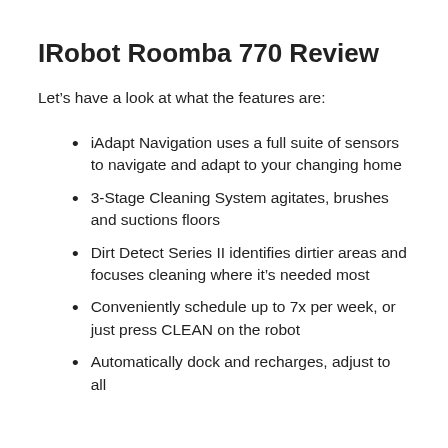IRobot Roomba 770 Review
Let's have a look at what the features are:
iAdapt Navigation uses a full suite of sensors to navigate and adapt to your changing home
3-Stage Cleaning System agitates, brushes and suctions floors
Dirt Detect Series II identifies dirtier areas and focuses cleaning where it's needed most
Conveniently schedule up to 7x per week, or just press CLEAN on the robot
Automatically dock and recharges, adjust to all